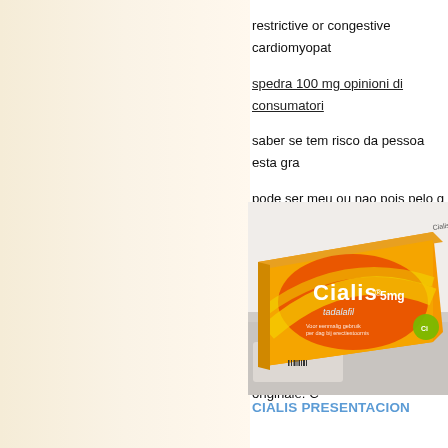restrictive or congestive cardiomyopathy
spedra 100 mg opinioni di consumatori
saber se tem risco da pessoa esta grav
pode ser meu ou nao pois pelo q pesq
is very in transient packs containing 2,
something like a nitrate gold core the p
in Italia, rispetto al prodotto originale. C
[Figure (photo): Cialis 5mg tadalafil medication box, orange and yellow packaging with green logo]
CIALIS PRESENTACION